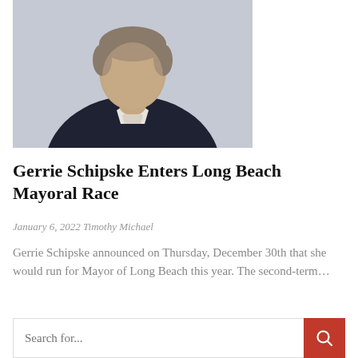[Figure (photo): Professional headshot/portrait photo of a person wearing a dark navy blazer over a white top, photographed from the chest up against a neutral background.]
Gerrie Schipske Enters Long Beach Mayoral Race
January 6, 2022 Timothy Michael
Gerrie Schipske announced on Thursday, December 30th that she would run for Mayor of Long Beach this year. The second-term...